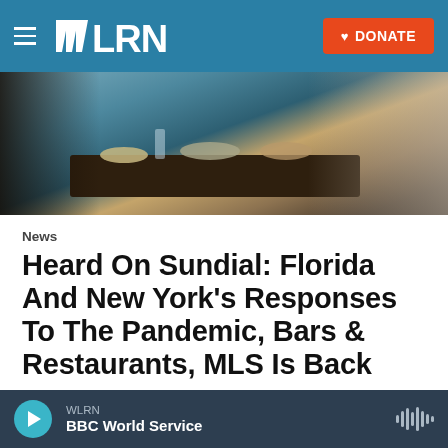WLRN — DONATE
[Figure (photo): Restaurant scene showing diners at a table with food and a server]
News
Heard On Sundial: Florida And New York's Responses To The Pandemic, Bars & Restaurants, MLS Is Back
Leslie Ovalle,  June 30, 2020
On this Tuesday, June 30, episode of Sundial:Florida &
WLRN  BBC World Service